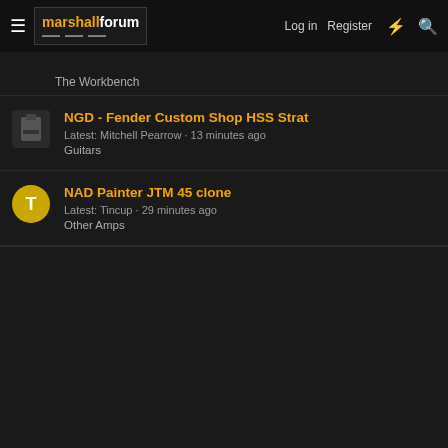marshall forum — Log in | Register
The Workbench
NGD - Fender Custom Shop HSS Strat
Latest: Mitchell Pearrow · 13 minutes ago
Guitars
NAD Painter JTM 45 clone
Latest: Tincup · 29 minutes ago
Other Amps